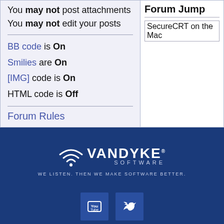You may not post attachments
You may not edit your posts
BB code is On
Smilies are On
[IMG] code is On
HTML code is Off
Forum Rules
Forum Jump
SecureCRT on the Mac
[Figure (logo): VanDyke Software logo with WiFi arc icon, company name, and tagline: WE LISTEN. THEN WE MAKE SOFTWARE BETTER.]
[Figure (other): YouTube and Twitter social media icon buttons]